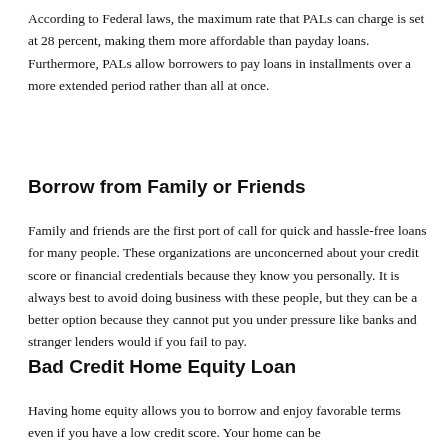According to Federal laws, the maximum rate that PALs can charge is set at 28 percent, making them more affordable than payday loans. Furthermore, PALs allow borrowers to pay loans in installments over a more extended period rather than all at once.
Borrow from Family or Friends
Family and friends are the first port of call for quick and hassle-free loans for many people. These organizations are unconcerned about your credit score or financial credentials because they know you personally. It is always best to avoid doing business with these people, but they can be a better option because they cannot put you under pressure like banks and stranger lenders would if you fail to pay.
Bad Credit Home Equity Loan
Having home equity allows you to borrow and enjoy favorable terms even if you have a low credit score. Your home can be